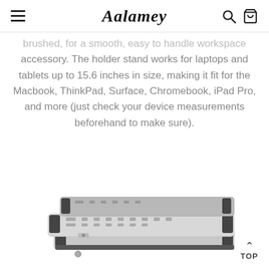Aalamey
brushed, for a smooth, easy to handle workspace accessory. The holder stand works for laptops and tablets up to 15.6 inches in size, making it fit for the Macbook, ThinkPad, Surface, Chromebook, iPad Pro, and more (just check your device measurements beforehand to make sure).
[Figure (photo): Product photo of a silver aluminum laptop/tablet stand with black rubber pads, shown folded flat, displayed from an angled perspective on a white background.]